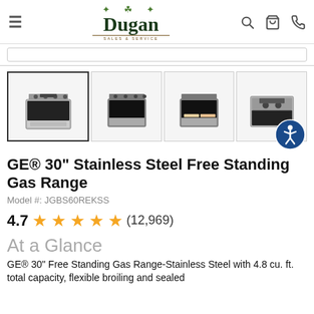[Figure (logo): Dugan Home Appliances logo with shamrock, serif wordmark, and tagline 'Sales & Service']
[Figure (screenshot): Search bar input field]
[Figure (photo): Four product thumbnail images of GE 30-inch Stainless Steel Free Standing Gas Range from different angles]
GE® 30" Stainless Steel Free Standing Gas Range
Model #: JGBS60REKSS
4.7 ★★★★★ (12,969)
At a Glance
GE® 30" Free Standing Gas Range-Stainless Steel with 4.8 cu. ft. total capacity, flexible broiling and sealed